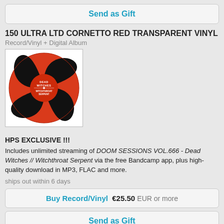Send as Gift
150 ULTRA LTD CORNETTO RED TRANSPARENT VINYL
Record/Vinyl + Digital Album
[Figure (photo): Red transparent vinyl record with black label reading DEAD WITCHES / WITCHTHROAT SERPENT, showing a swirled pattern]
HPS EXCLUSIVE !!!
Includes unlimited streaming of DOOM SESSIONS VOL.666 - Dead Witches // Witchthroat Serpent via the free Bandcamp app, plus high-quality download in MP3, FLAC and more.
ships out within 6 days
Buy Record/Vinyl  €25.50 EUR or more
Send as Gift